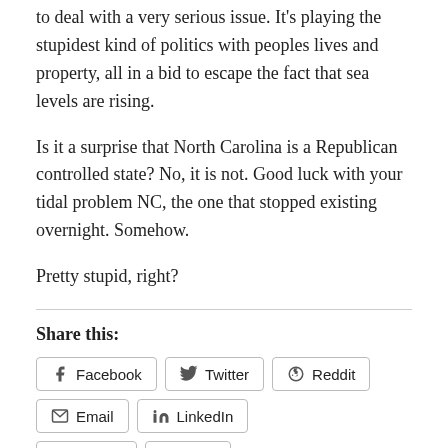to deal with a very serious issue. It's playing the stupidest kind of politics with peoples lives and property, all in a bid to escape the fact that sea levels are rising.
Is it a surprise that North Carolina is a Republican controlled state? No, it is not. Good luck with your tidal problem NC, the one that stopped existing overnight. Somehow.
Pretty stupid, right?
Share this:
Facebook
Twitter
Reddit
Email
LinkedIn
Tumblr
Print
Like